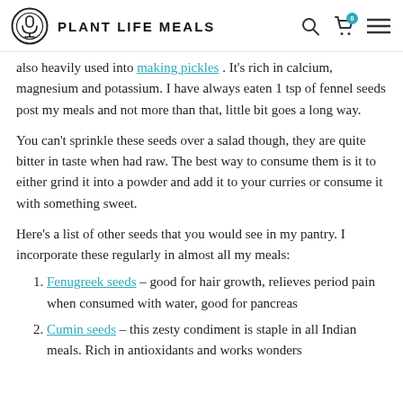PLANT LIFE MEALS
also heavily used into making pickles . It's rich in calcium, magnesium and potassium. I have always eaten 1 tsp of fennel seeds post my meals and not more than that, little bit goes a long way.
You can't sprinkle these seeds over a salad though, they are quite bitter in taste when had raw. The best way to consume them is it to either grind it into a powder and add it to your curries or consume it with something sweet.
Here's a list of other seeds that you would see in my pantry. I incorporate these regularly in almost all my meals:
Fenugreek seeds – good for hair growth, relieves period pain when consumed with water, good for pancreas
Cumin seeds – this zesty condiment is staple in all Indian meals. Rich in antioxidants and works wonders